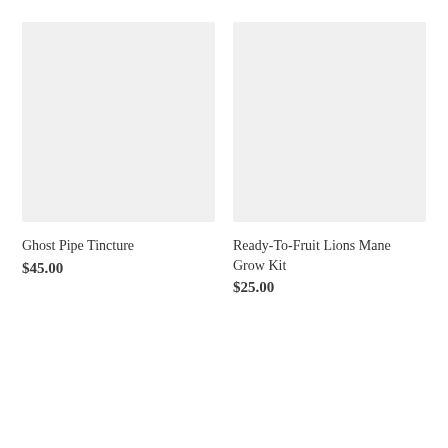[Figure (photo): Product image placeholder for Ghost Pipe Tincture — light grey rectangle]
Ghost Pipe Tincture
$45.00
[Figure (photo): Product image placeholder for Ready-To-Fruit Lions Mane Grow Kit — light grey rectangle]
Ready-To-Fruit Lions Mane Grow Kit
$25.00